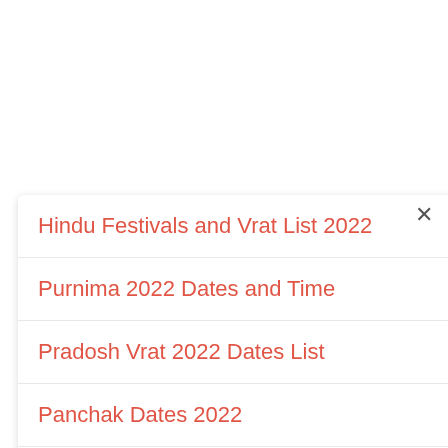Hindu Festivals and Vrat List 2022
Purnima 2022 Dates and Time
Pradosh Vrat 2022 Dates List
Panchak Dates 2022
2022 Marathi Festivals List